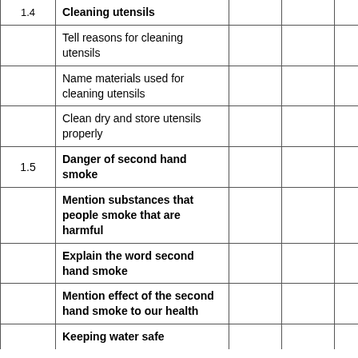|  |  |  |  |  |  |
| --- | --- | --- | --- | --- | --- |
| 1.4 | Cleaning utensils |  |  |  |  |
|  | Tell reasons for cleaning utensils |  |  |  |  |
|  | Name materials used for cleaning utensils |  |  |  |  |
|  | Clean dry and store utensils properly |  |  |  |  |
| 1.5 | Danger of second hand smoke |  |  |  |  |
|  | Mention substances that people smoke that are harmful |  |  |  |  |
|  | Explain the word second hand smoke |  |  |  |  |
|  | Mention effect of the second hand smoke to our health |  |  |  |  |
|  | Keeping water safe |  |  |  |  |